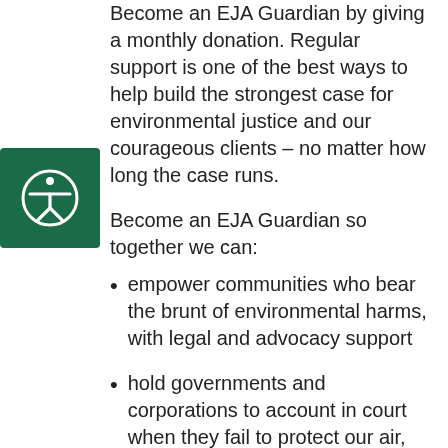Become an EJA Guardian by giving a monthly donation. Regular support is one of the best ways to help build the strongest case for environmental justice and our courageous clients – no matter how long the case runs.
Become an EJA Guardian so together we can:
[Figure (logo): Green square with white accessibility icon (person with outstretched arms in a circle)]
empower communities who bear the brunt of environmental harms, with legal and advocacy support
hold governments and corporations to account in court when they fail to protect our air, water and wildlife
run bold strategic litigation to set vital legal precedents that drive systemic change and deliver long-lasting protections for people and nature